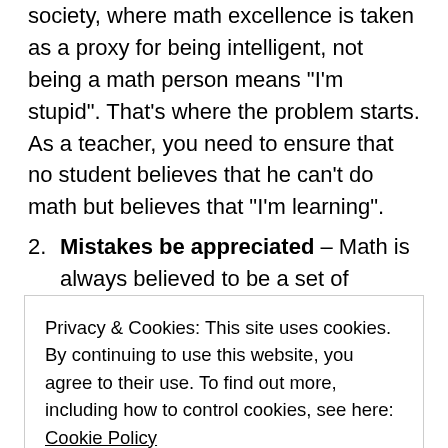society, where math excellence is taken as a proxy for being intelligent, not being a math person means “I’m stupid”. That’s where the problem starts. As a teacher, you need to ensure that no student believes that he can’t do math but believes that “I’m learning”.
2. Mistakes be appreciated – Math is always believed to be a set of problems which have a right answer. As a result, the right answers are appreciated and there is no scope for making
Privacy & Cookies: This site uses cookies. By continuing to use this website, you agree to their use. To find out more, including how to control cookies, see here: Cookie Policy
Close and accept
y g